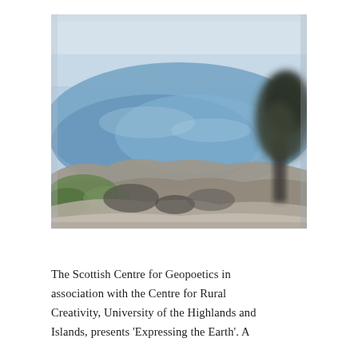[Figure (photo): A blurred landscape photograph showing a coastal Scottish highland scene with blue water/loch, rocky shoreline in the foreground with green vegetation, and a dark tree on the right side against a pale blue sky.]
The Scottish Centre for Geopoetics in association with the Centre for Rural Creativity, University of the Highlands and Islands, presents 'Expressing the Earth'. A